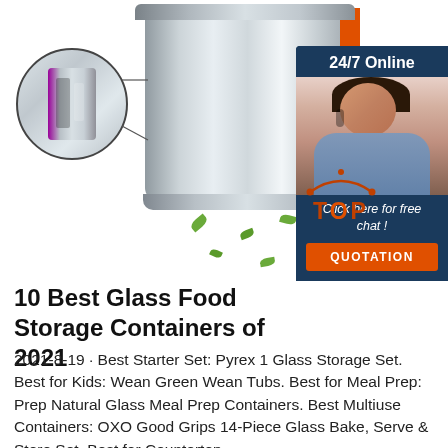[Figure (photo): Stainless steel food storage container with orange accent band and circular zoom inset showing latch detail, with green leaves scattered around. Customer service representative panel on the right with '24/7 Online' header and 'Click here for free chat!' and 'QUOTATION' button.]
10 Best Glass Food Storage Containers of 2021
2021-8-19 · Best Starter Set: Pyrex 1 Glass Storage Set. Best for Kids: Wean Green Wean Tubs. Best for Meal Prep: Prep Natural Glass Meal Prep Containers. Best Multiuse Containers: OXO Good Grips 14-Piece Glass Bake, Serve & Store Set. Best for Countertop